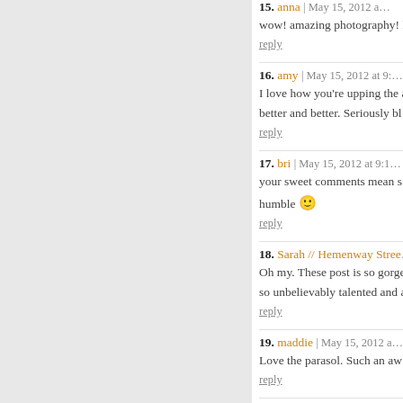15. anna | May 15, 2012... wow! amazing photography! lo... reply
16. amy | May 15, 2012 at 9:... I love how you're upping the a... better and better. Seriously bl... reply
17. bri | May 15, 2012 at 9:1... your sweet comments mean s... humble :) reply
18. Sarah // Hemenway Stree... Oh my. These post is so gorge... so unbelievably talented and a... reply
19. maddie | May 15, 2012 a... Love the parasol. Such an aw... reply
20. Gina @ Oaxacaborn | Ma... This is really beautiful, Bri. Ev... weightlessness of it all! reply
21. Elizabeth | May 15, 2012...